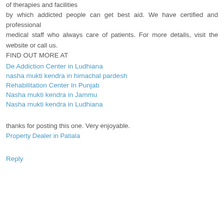of therapies and facilities by which addicted people can get best aid. We have certified and professional medical staff who always care of patients. For more details, visit the website or call us. FIND OUT MORE AT
De Addiction Center in Ludhiana
nasha mukti kendra in himachal pardesh
Rehabilitation Center In Punjab
Nasha mukti kendra in Jammu
Nasha mukti kendra in Ludhiana
thanks for posting this one. Very enjoyable.
Property Dealer in Patiala
Reply